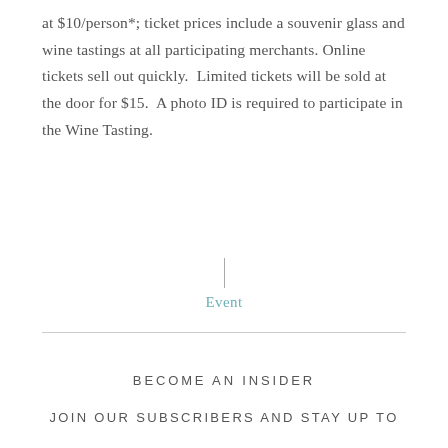at $10/person*; ticket prices include a souvenir glass and wine tastings at all participating merchants. Online tickets sell out quickly. Limited tickets will be sold at the door for $15. A photo ID is required to participate in the Wine Tasting.
| Event
BECOME AN INSIDER
JOIN OUR SUBSCRIBERS AND STAY UP TO